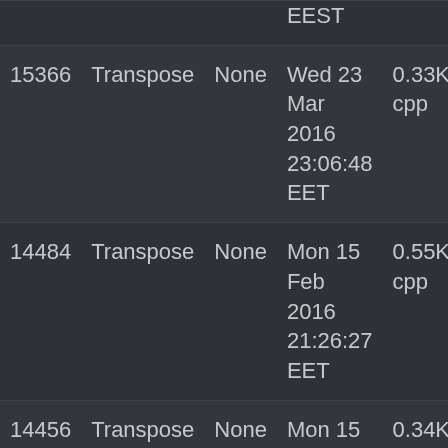| ID | Type | Status | Date | Size | Author |  |
| --- | --- | --- | --- | --- | --- | --- |
|  |  |  | EEST |  |  |  |
| 15366 | Transpose | None | Wed 23 Mar 2016 23:06:48 EET | 0.33KB cpp | Mitja Žalik | A |
| 14484 | Transpose | None | Mon 15 Feb 2016 21:26:27 EET | 0.55KB cpp | Alexandru | A |
| 14456 | Transpose | None | Mon 15 Feb 2016 17:53:33 EET | 0.34KB cpp | Malina Diaconescu | A |
| 14422 | Transpose | None | Sat 13 Feb 2016 23:53:57 | 0.32KB cpp | Sergiu Maries | A |